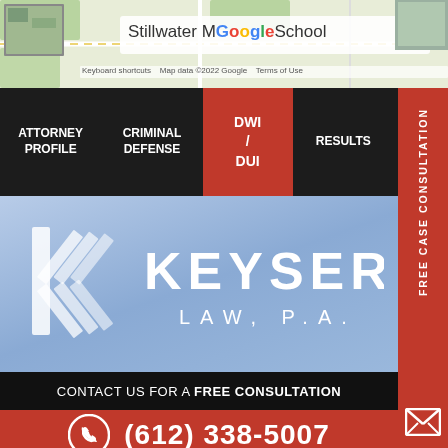[Figure (screenshot): Google Maps screenshot showing Stillwater Middle School area]
ATTORNEY PROFILE | CRIMINAL DEFENSE | DWI / DUI | RESULTS | NEWS
[Figure (logo): Keyser Law, P.A. logo on blue-purple gradient background]
CONTACT US FOR A FREE CONSULTATION
(612) 338-5007
FREE CASE CONSULTATION
MINNEAPOLIS LOCATION